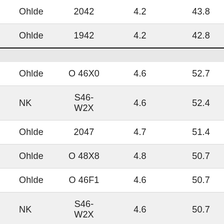| Ohlde | 2042 | 4.2 | 43.8 |
| Ohlde | 1942 | 4.2 | 42.8 |
|  |  |  |  |
| Ohlde | O 46X0 | 4.6 | 52.7 |
| NK | S46-W2X | 4.6 | 52.4 |
| Ohlde | 2047 | 4.7 | 51.4 |
| Ohlde | O 48X8 | 4.8 | 50.7 |
| Ohlde | O 46F1 | 4.6 | 50.7 |
| NK | S46-W2X | 4.6 | 50.7 |
| Asgrow | AG48X7 | 4.8 | 50.6 |